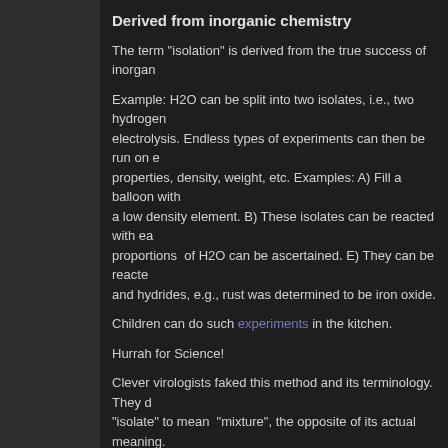Derived from inorganic chemistry
The term "isolation" is derived from the true success of inorganic chemistry...
Example: H2O can be split into two isolates, i.e., two hydrogen and electrolysis. Endless types of experiments can then be run on each: properties, density, weight, etc. Examples: A) Fill a balloon with a low density element. B) These isolates can be reacted with each other proportions of H2O can be ascertained. E) They can be reacted and hydrides, e.g., rust was determined to be iron oxide.
Children can do such experiments in the kitchen.
Hurrah for Science!
Clever virologists faked this method and its terminology. They d "isolate" to mean "mixture", the opposite of its actual meaning.
In practice, "virus isolates" are complex mixtures of biological m confused mess.
The Perth Group, essentially, is saying this, and so are biochem Lanka PhD. The virus paradigm promoter, PhD, Judy Mikovitz the medical dissident.